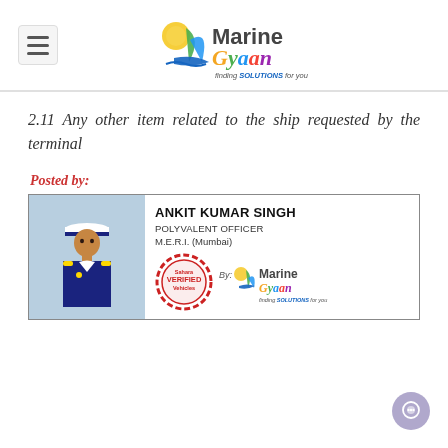Marine Gyaan – finding SOLUTIONS for you
2.11 Any other item related to the ship requested by the terminal
Posted by:
[Figure (infographic): Author card showing photo of Ankit Kumar Singh in naval uniform, name, title (Polyvalent Officer), institution (M.E.R.I. Mumbai), verified stamp, and Marine Gyaan logo]